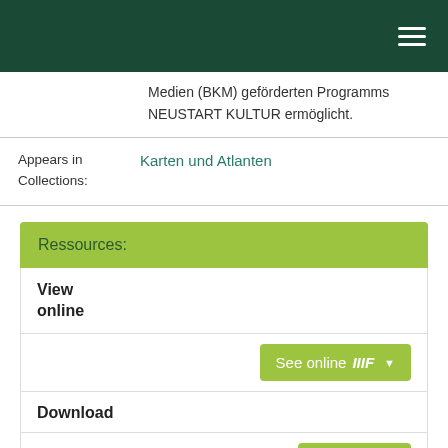Navigation header bar with hamburger menu
Medien (BKM) geförderten Programms NEUSTART KULTUR ermöglicht.
| Label | Value |
| --- | --- |
| Appears in Collections: | Karten und Atlanten |
Ressources:
View online
See online IIIF
Download
11.4 MB   Adobe PDF   View/Open